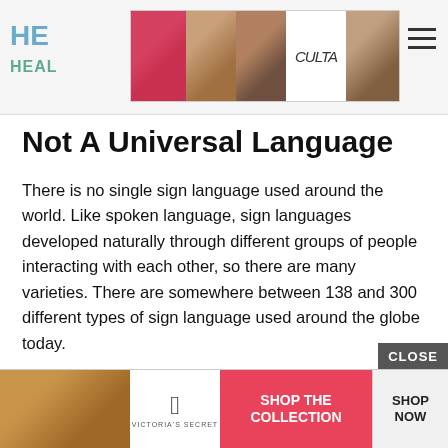HE HEAL
[Figure (other): Ulta Beauty advertisement banner showing makeup product photos with ULTA logo and SHOP NOW button]
Not A Universal Language
There is no single sign language used around the world. Like spoken language, sign languages developed naturally through different groups of people interacting with each other, so there are many varieties. There are somewhere between 138 and 300 different types of sign language used around the globe today.
Interestingly, most countries that share the same spoken language do not necessarily have the same sign language as each other. English for example, has three varieties:
Ameri
Austra
[Figure (other): Victoria's Secret advertisement banner with SHOP THE COLLECTION and SHOP NOW text]